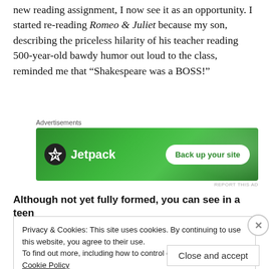new reading assignment, I now see it as an opportunity. I started re-reading Romeo & Juliet because my son, describing the priceless hilarity of his teacher reading 500-year-old bawdy humor out loud to the class, reminded me that “Shakespeare was a BOSS!”
[Figure (other): Jetpack advertisement banner with green background, Jetpack logo and 'Back up your site' button]
Although not yet fully formed, you can see in a teen
Privacy & Cookies: This site uses cookies. By continuing to use this website, you agree to their use. To find out more, including how to control cookies, see here: Cookie Policy
Close and accept